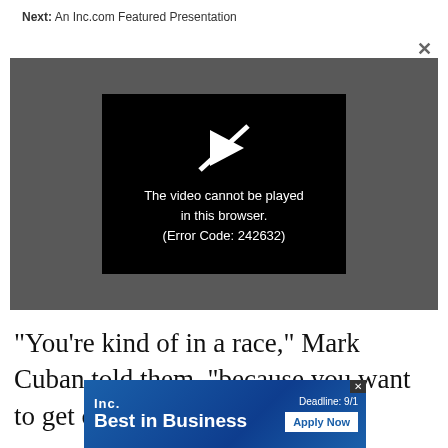Next: An Inc.com Featured Presentation
[Figure (screenshot): Video player showing error message: 'The video cannot be played in this browser. (Error Code: 242632)' with a crossed-out play button icon on a dark gray background.]
"You're kind of in a race," Mark Cuban told them, "because you want to get out there as quic
[Figure (infographic): Inc. Best in Business advertisement banner with 'Deadline: 9/1' and 'Apply Now' button]